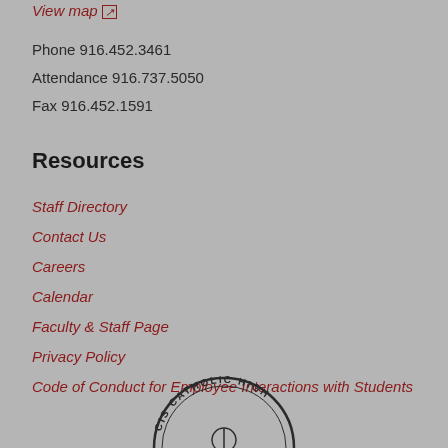View map
Phone 916.452.3461
Attendance 916.737.5050
Fax 916.452.1591
Resources
Staff Directory
Contact Us
Careers
Calendar
Faculty & Staff Page
Privacy Policy
Code of Conduct for Employee Interactions with Students
[Figure (logo): Partial circular seal for a Catholic High School, showing arc text 'CIS CATHOLIC HIGH' around the top edge of the seal]